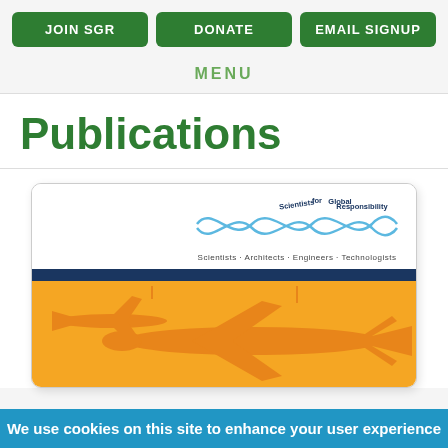JOIN SGR | DONATE | EMAIL SIGNUP
MENU
Publications
[Figure (screenshot): Publications page screenshot showing Scientists for Global Responsibility (SGR) logo with text 'Scientists · Architects · Engineers · Technologists' and an orange illustrated background with silhouettes of drones/military aircraft]
We use cookies on this site to enhance your user experience